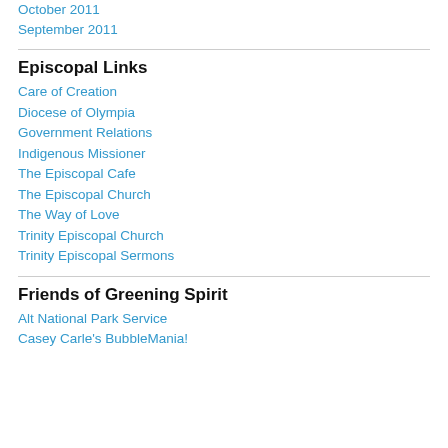October 2011
September 2011
Episcopal Links
Care of Creation
Diocese of Olympia
Government Relations
Indigenous Missioner
The Episcopal Cafe
The Episcopal Church
The Way of Love
Trinity Episcopal Church
Trinity Episcopal Sermons
Friends of Greening Spirit
Alt National Park Service
Casey Carle's BubbleMania!